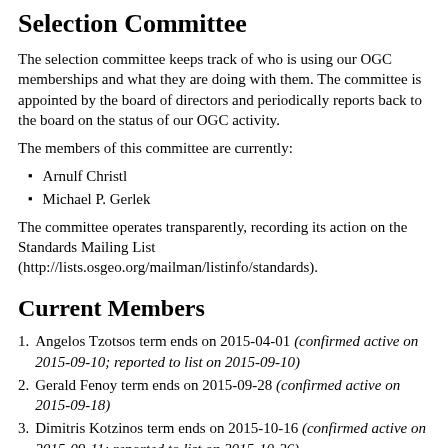Selection Committee
The selection committee keeps track of who is using our OGC memberships and what they are doing with them. The committee is appointed by the board of directors and periodically reports back to the board on the status of our OGC activity.
The members of this committee are currently:
Arnulf Christl
Michael P. Gerlek
The committee operates transparently, recording its action on the Standards Mailing List (http://lists.osgeo.org/mailman/listinfo/standards).
Current Members
Angelos Tzotsos term ends on 2015-04-01 (confirmed active on 2015-09-10; reported to list on 2015-09-10)
Gerald Fenoy term ends on 2015-09-28 (confirmed active on 2015-09-18)
Dimitris Kotzinos term ends on 2015-10-16 (confirmed active on 2015-09-11; reported to list on 2015-10-26)